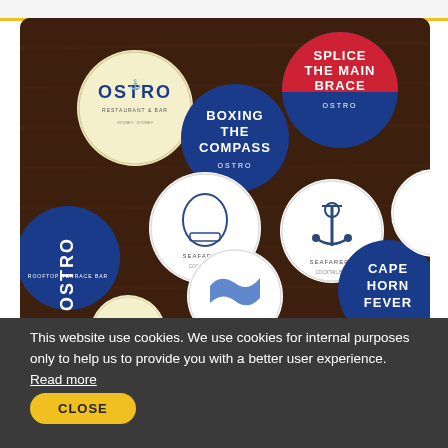[Figure (photo): Photo of multiple circular drink coasters on a dark wood surface. Coasters include OSTRO branding in various designs: a yellow/cream OSTRO Restaurant & Bar coaster, a blue coaster reading BOXING THE COMPASS OSTRO, a red/blue coaster reading SPLICE THE MAIN BRACE OSTRO, white coasters with maritime imagery (diving helmet, anchor, flag), a blue OSTRO side coaster, and a blue CAPE HORN FEVER coaster.]
This website use cookies. We use cookies for internal purposes only to help us to provide you with a better user experience.  Read more
CLOSE